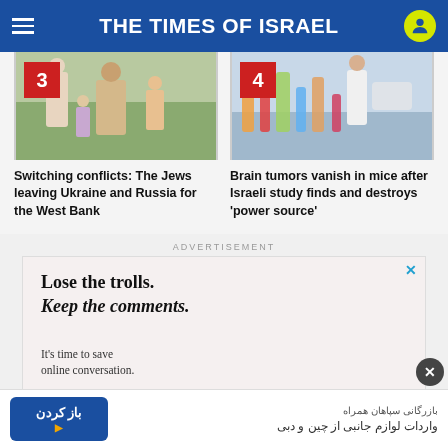THE TIMES OF ISRAEL
[Figure (photo): Photo numbered 3: People outdoors, families with children]
Switching conflicts: The Jews leaving Ukraine and Russia for the West Bank
[Figure (photo): Photo numbered 4: Laboratory scene with colorful test tubes and equipment]
Brain tumors vanish in mice after Israeli study finds and destroys 'power source'
ADVERTISEMENT
[Figure (other): Advertisement box with text: Lose the trolls. Keep the comments. It's time to save online conversation.]
بازرگانی سپاهان همراه واردات لوازم جانبی از چین و دبی